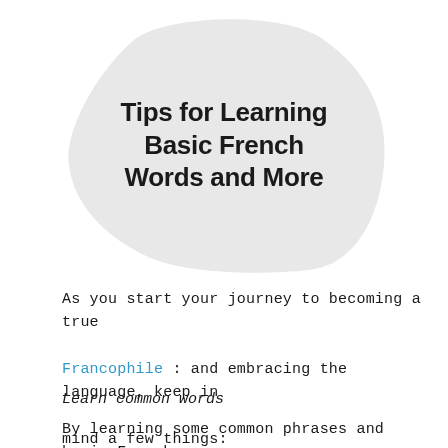Tips for Learning Basic French Words and More
As you start your journey to becoming a true Francophile : and embracing the language, keep in mind a few things:
Learn common words
By learning some common phrases and basic French